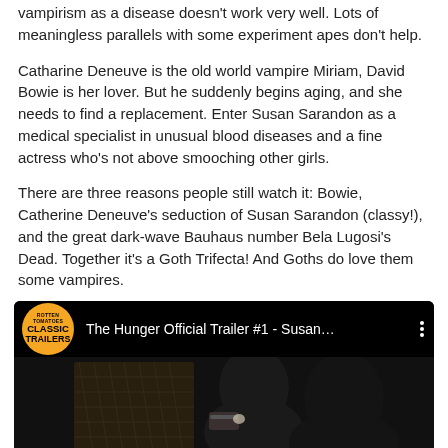vampirism as a disease doesn't work very well. Lots of meaningless parallels with some experiment apes don't help.
Catharine Deneuve is the old world vampire Miriam, David Bowie is her lover. But he suddenly begins aging, and she needs to find a replacement. Enter Susan Sarandon as a medical specialist in unusual blood diseases and a fine actress who's not above smooching other girls.
There are three reasons people still watch it: Bowie, Catherine Deneuve's seduction of Susan Sarandon (classy!), and the great dark-wave Bauhaus number Bela Lugosi's Dead. Together it's a Goth Trifecta! And Goths do love them some vampires.
[Figure (screenshot): YouTube video thumbnail for 'The Hunger Official Trailer #1 - Susan...' with Classic Trailers logo (orange circle) on black background, showing a dark scene below.]